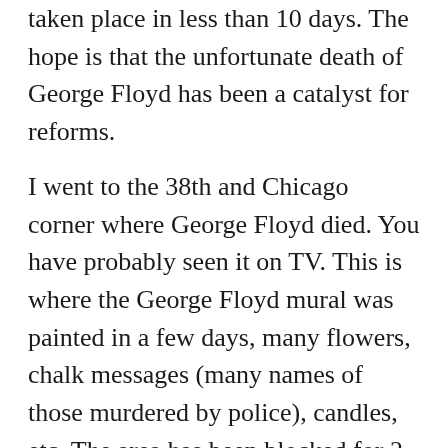taken place in less than 10 days. The hope is that the unfortunate death of George Floyd has been a catalyst for reforms.
I went to the 38th and Chicago corner where George Floyd died. You have probably seen it on TV. This is where the George Floyd mural was painted in a few days, many flowers, chalk messages (many names of those murdered by police), candles, etc. The area has been blocked for 2 blocks in all directions. There were quite a few people on the day I was there but most were spacing and wearing masks as we still have a